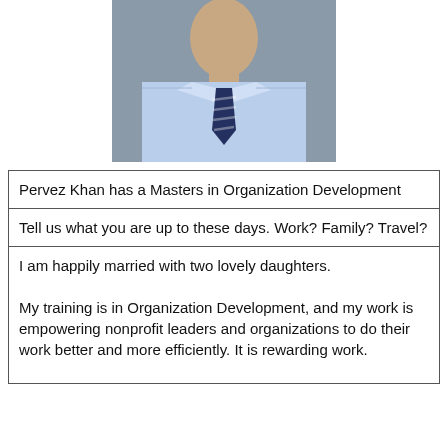[Figure (photo): Headshot of Pervez Khan, a man wearing a light blue dress shirt and dark navy striped tie, photographed from the chest up against a neutral background.]
Pervez Khan has a Masters in Organization Development
Tell us what you are up to these days. Work? Family? Travel?
I am happily married with two lovely daughters.

My training is in Organization Development, and my work is empowering nonprofit leaders and organizations to do their work better and more efficiently. It is rewarding work.